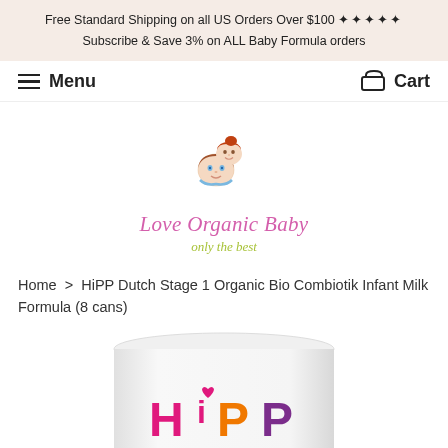Free Standard Shipping on all US Orders Over $100 ✦✦✦✦✦
Subscribe & Save 3% on ALL Baby Formula orders
Menu  Cart
[Figure (logo): Love Organic Baby logo with cartoon children characters, text 'Love Organic Baby' in pink italic script and 'only the best' in green italic script below]
Home > HiPP Dutch Stage 1 Organic Bio Combiotik Infant Milk Formula (8 cans)
[Figure (photo): HiPP formula can with HiPP logo visible at the bottom of the frame, white cylindrical can]